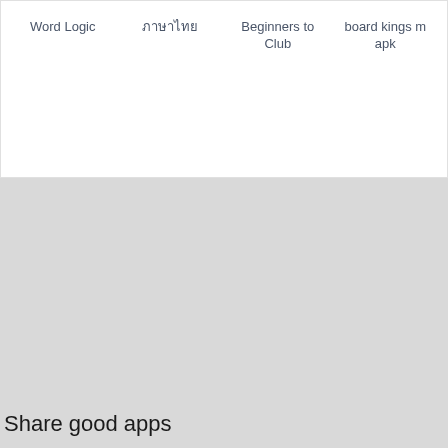| Word Logic | ภาษาไทย | Beginners to Club | board kings m apk |
| --- | --- | --- | --- |
Share good apps